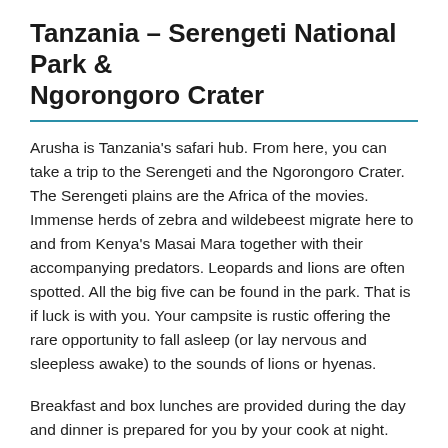Tanzania – Serengeti National Park & Ngorongoro Crater
Arusha is Tanzania's safari hub. From here, you can take a trip to the Serengeti and the Ngorongoro Crater. The Serengeti plains are the Africa of the movies. Immense herds of zebra and wildebeest migrate here to and from Kenya's Masai Mara together with their accompanying predators. Leopards and lions are often spotted. All the big five can be found in the park. That is if luck is with you. Your campsite is rustic offering the rare opportunity to fall asleep (or lay nervous and sleepless awake) to the sounds of lions or hyenas.
Breakfast and box lunches are provided during the day and dinner is prepared for you by your cook at night. After game driving in the park, you'll head out past Masai villages and...